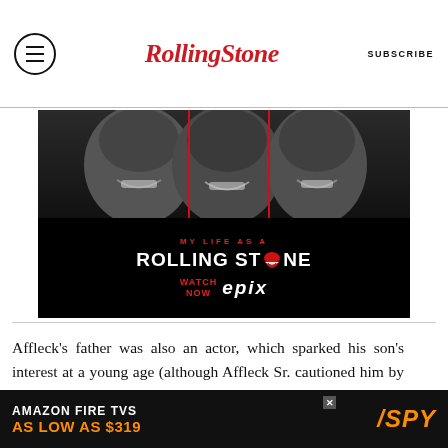Rolling Stone | SUBSCRIBE
[Figure (photo): Advertisement for 'My Life as a Rolling Stone' on EPIX, showing black and white close-up faces with the show title and watch now EPIX branding]
Affleck’s father was also an actor, which sparked his son’s interest at a young age (although Affleck Sr. cautioned him by saying it was “the stupidest fucking job in the world”). He and his best friend Matt Damon, who lived two blocks away, would
AMAZON FIRE TVS AS LOW AS $319 | SPY